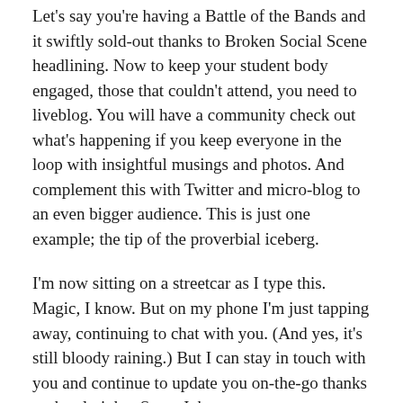Let's say you're having a Battle of the Bands and it swiftly sold-out thanks to Broken Social Scene headlining. Now to keep your student body engaged, those that couldn't attend, you need to liveblog. You will have a community check out what's happening if you keep everyone in the loop with insightful musings and photos. And complement this with Twitter and micro-blog to an even bigger audience. This is just one example; the tip of the proverbial iceberg.
I'm now sitting on a streetcar as I type this. Magic, I know. But on my phone I'm just tapping away, continuing to chat with you. (And yes, it's still bloody raining.) But I can stay in touch with you and continue to update you on-the-go thanks to the almighty Steve Jobs.